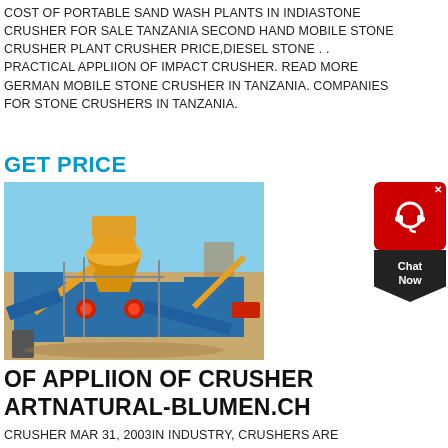COST OF PORTABLE SAND WASH PLANTS IN INDIASTONE CRUSHER FOR SALE TANZANIA SECOND HAND MOBILE STONE CRUSHER PLANT CRUSHER PRICE,DIESEL STONE . . PRACTICAL APPLIION OF IMPACT CRUSHER. READ MORE GERMAN MOBILE STONE CRUSHER IN TANZANIA. COMPANIES FOR STONE CRUSHERS IN TANZANIA.
GET PRICE
[Figure (photo): Yellow and blue mobile stone crusher plant machinery on a sandy construction site with blue sky background]
[Figure (other): Red and black chat widget with headset icon and 'Chat Now' text in a downward-pointing chevron shape]
OF APPLIION OF CRUSHER ARTNATURAL-BLUMEN.CH
CRUSHER MAR 31, 2003IN INDUSTRY, CRUSHERS ARE